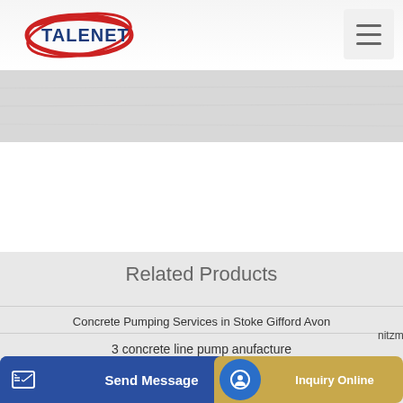[Figure (logo): Talenet logo with red ellipse and blue bold text TALENET]
[Figure (other): Hamburger menu icon (three horizontal lines) in grey box]
[Figure (photo): Background banner image with concrete/brick texture, whitish grey]
Related Products
Concrete Pumping Services in Stoke Gifford Avon
3 concrete line pump anufacture
nitzme
Send Message
Inquiry Online